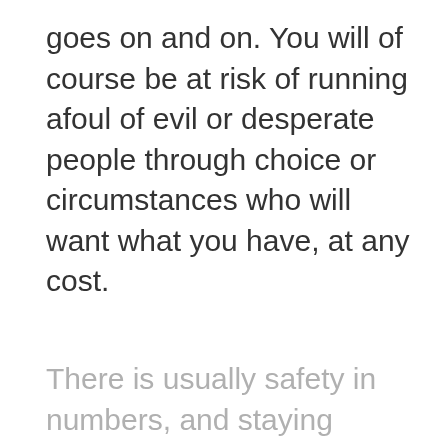goes on and on. You will of course be at risk of running afoul of evil or desperate people through choice or circumstances who will want what you have, at any cost.
There is usually safety in numbers, and staying